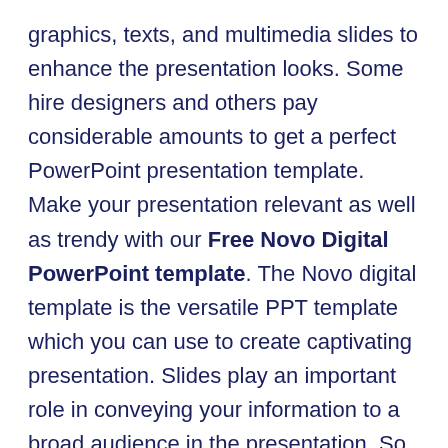graphics, texts, and multimedia slides to enhance the presentation looks. Some hire designers and others pay considerable amounts to get a perfect PowerPoint presentation template. Make your presentation relevant as well as trendy with our Free Novo Digital PowerPoint template. The Novo digital template is the versatile PPT template which you can use to create captivating presentation. Slides play an important role in conveying your information to a broad audience in the presentation. So, its crucial for the presenter to opt for the ideal presentation template. Using our digital presentation template, the presenter can show a creative version of the company portfolio,